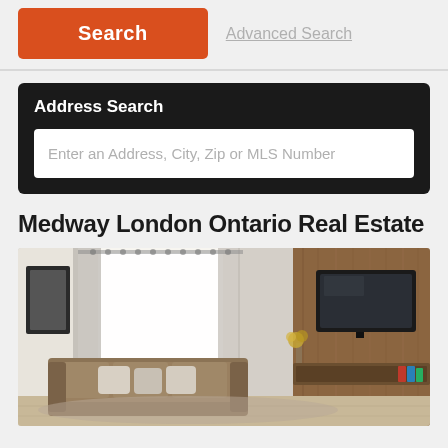Search
Advanced Search
Address Search
Enter an Address, City, Zip or MLS Number
Medway London Ontario Real Estate
[Figure (photo): Interior photo of a modern living room with a brown sectional sofa, white curtains, and a flat-screen TV mounted on a wood-paneled wall]